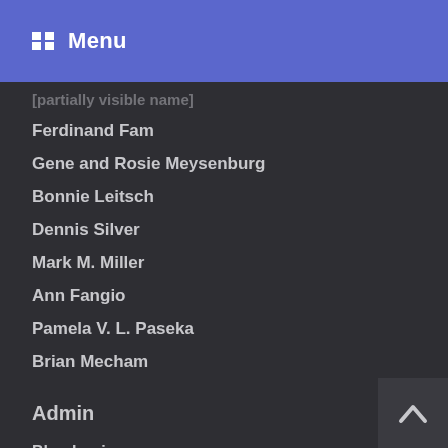Menu
[partially visible name]
Ferdinand Fam
Gene and Rosie Meysenburg
Bonnie Leitsch
Dennis Silver
Mark M. Miller
Ann Fangio
Pamela V. L. Paseka
Brian Mecham
Admin
Blog Login
Store Account Log in
Product Tech Support
Volunteer/Intern